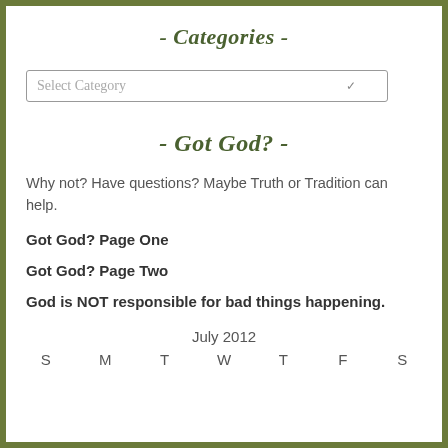- Categories -
[Figure (other): Dropdown select box labeled 'Select Category' with a checkmark/arrow on right]
- Got God? -
Why not? Have questions? Maybe Truth or Tradition can help.
Got God? Page One
Got God? Page Two
God is NOT responsible for bad things happening.
July 2012
S  M  T  W  T  F  S